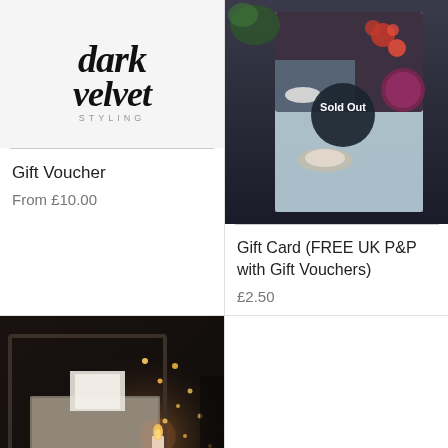[Figure (logo): Dark velvet Styling cursive logo with 'STYLING' in small caps beneath]
Gift Voucher
From £10.00
[Figure (photo): Gift card standing on dark surface showing food/drink imagery with a dark circular 'Sold Out' badge overlay]
Gift Card (FREE UK P&P with Gift Vouchers)
£2.50
[Figure (photo): Dark moody photo of wrapped gift, candle and fairy lights]